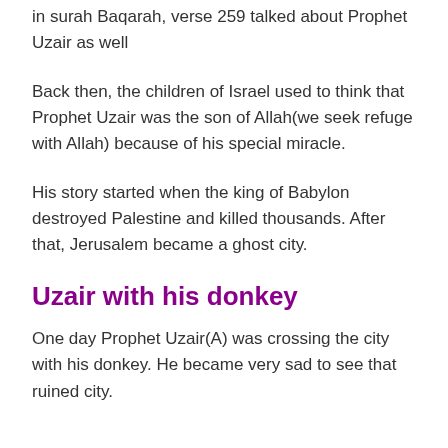in surah Baqarah, verse 259 talked about Prophet Uzair as well
Back then, the children of Israel used to think that Prophet Uzair was the son of Allah(we seek refuge with Allah) because of his special miracle.
His story started when the king of Babylon destroyed Palestine and killed thousands. After that, Jerusalem became a ghost city.
Uzair with his donkey
One day Prophet Uzair(A) was crossing the city with his donkey. He became very sad to see that ruined city.